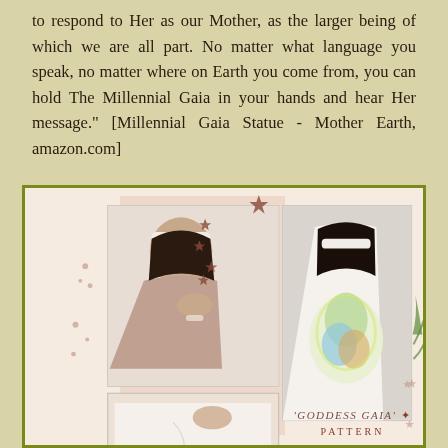to respond to Her as our Mother, as the larger being of which we are all part. No matter what language you speak, no matter where on Earth you come from, you can hold The Millennial Gaia in your hands and hear Her message." [Millennial Gaia Statue - Mother Earth, amazon.com]
[Figure (photo): A bordered image box with olive/green border containing three photos: top-left shows a woman with white headband looking down touching her shoulder, bottom-left shows hands holding fabric with embroidered symbol, right side shows woman with dark hair viewed from behind wearing a white top/wrap with a colorful Gaia artwork printed on the back. Decorative star/flower motifs scattered around. Caption reads 'GODDESS GAIA' PATTERN at the bottom.]
'GODDESS GAIA' PATTERN